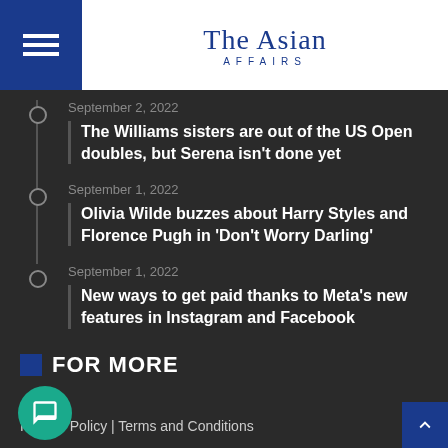The Asian Affairs
September 2, 2022 — The Williams sisters are out of the US Open doubles, but Serena isn't done yet
September 1, 2022 — Olivia Wilde buzzes about Harry Styles and Florence Pugh in 'Don't Worry Darling'
September 1, 2022 — New ways to get paid thanks to Meta's new features in Instagram and Facebook
FOR MORE
Privacy Policy | Terms and Conditions